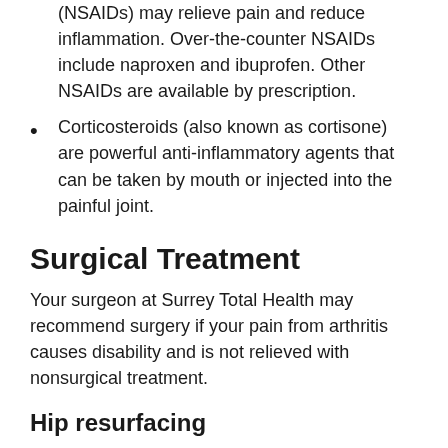(NSAIDs) may relieve pain and reduce inflammation. Over-the-counter NSAIDs include naproxen and ibuprofen. Other NSAIDs are available by prescription.
Corticosteroids (also known as cortisone) are powerful anti-inflammatory agents that can be taken by mouth or injected into the painful joint.
Surgical Treatment
Your surgeon at Surrey Total Health may recommend surgery if your pain from arthritis causes disability and is not relieved with nonsurgical treatment.
Hip resurfacing
In this hip replacement procedure, the damaged bone and cartilage in the acetabulum